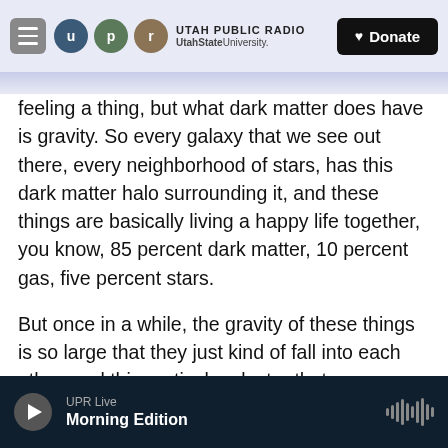UTAH PUBLIC RADIO | UtahState University | Donate
feeling a thing, but what dark matter does have is gravity. So every galaxy that we see out there, every neighborhood of stars, has this dark matter halo surrounding it, and these things are basically living a happy life together, you know, 85 percent dark matter, 10 percent gas, five percent stars.
But once in a while, the gravity of these things is so large that they just kind of fall into each other, and this particular cluster that we observed has a velocity of collision, velocity of 2 million miles an hour. So it results in some pretty spectacular events
UPR Live | Morning Edition